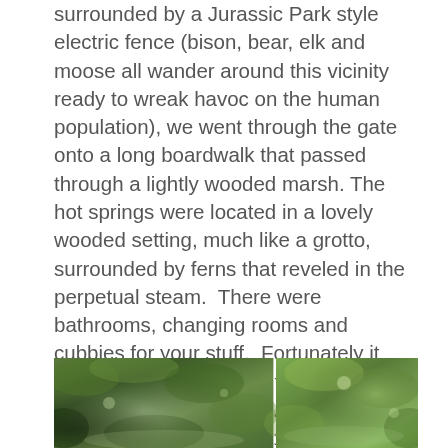surrounded by a Jurassic Park style electric fence (bison, bear, elk and moose all wander around this vicinity ready to wreak havoc on the human population), we went through the gate onto a long boardwalk that passed through a lightly wooded marsh. The hot springs were located in a lovely wooded setting, much like a grotto, surrounded by ferns that reveled in the perpetual steam.  There were bathrooms, changing rooms and cubbies for your stuff.  Fortunately it wasn't too crowded and the smell of sulphur wasn't too bad. We welcomed the heat as we lowered ourselves into the shallow, crystal-clear water. In some areas the temperature was scalding hot and I was instructed to stir up the colder water from the bottom.
[Figure (photo): Outdoor nature photograph showing a wooded, green forest or hot spring area with dense foliage. The image appears to be split into two panels showing similar forest/spring scenery with green trees, ferns and natural light filtering through.]